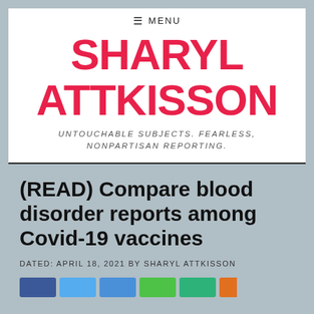≡ MENU
SHARYL ATTKISSON
UNTOUCHABLE SUBJECTS. FEARLESS, NONPARTISAN REPORTING.
(READ) Compare blood disorder reports among Covid-19 vaccines
DATED: APRIL 18, 2021 BY SHARYL ATTKISSON
[Figure (other): Row of social media share buttons in various colors: dark blue (Facebook), light blue (Twitter), medium blue, green (WhatsApp), teal/green, orange]